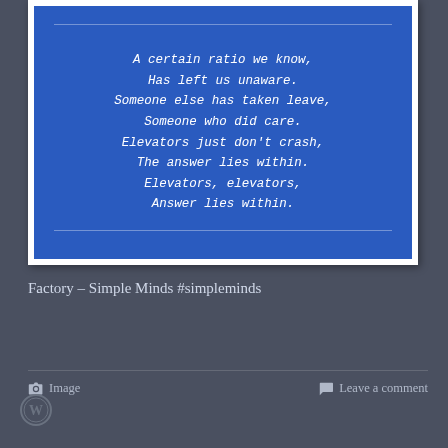[Figure (illustration): Blue polaroid-style card with italic monospace poem text on blue background with white decorative lines, set on dark background]
Factory – Simple Minds #simpleminds
Image   Leave a comment